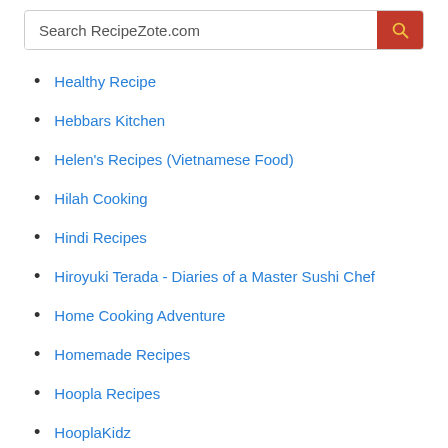[Figure (screenshot): Search bar with placeholder text 'Search RecipeZote.com' and a red search button with a yellow magnifying glass icon]
Healthy Recipe
Hebbars Kitchen
Helen's Recipes (Vietnamese Food)
Hilah Cooking
Hindi Recipes
Hiroyuki Terada - Diaries of a Master Sushi Chef
Home Cooking Adventure
Homemade Recipes
Hoopla Recipes
HooplaKidz
How To BBQ Right
How To Cake It